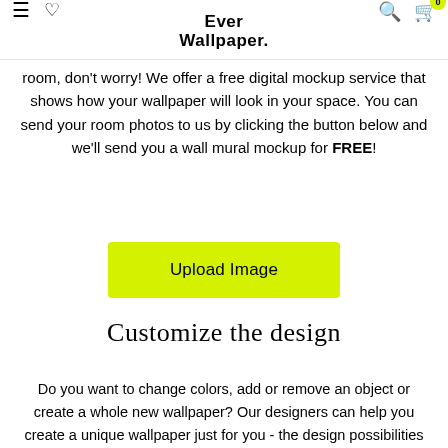Ever Wallpaper.
room, don't worry! We offer a free digital mockup service that shows how your wallpaper will look in your space. You can send your room photos to us by clicking the button below and we'll send you a wall mural mockup for FREE!
[Figure (other): Yellow/green 'Upload Image' button]
Customize the design
Do you want to change colors, add or remove an object or create a whole new wallpaper? Our designers can help you create a unique wallpaper just for you - the design possibilities are endless! Describe your design idea and we will get back to you with the price and information within a